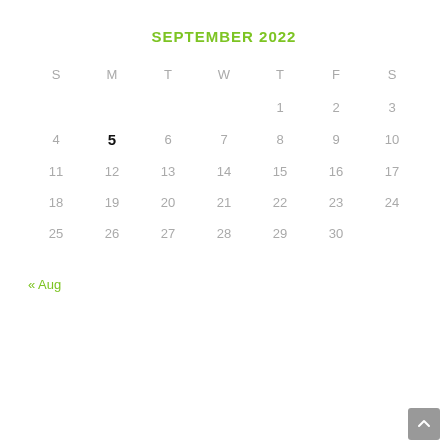SEPTEMBER 2022
| S | M | T | W | T | F | S |
| --- | --- | --- | --- | --- | --- | --- |
|  |  |  |  | 1 | 2 | 3 |
| 4 | 5 | 6 | 7 | 8 | 9 | 10 |
| 11 | 12 | 13 | 14 | 15 | 16 | 17 |
| 18 | 19 | 20 | 21 | 22 | 23 | 24 |
| 25 | 26 | 27 | 28 | 29 | 30 |  |
« Aug